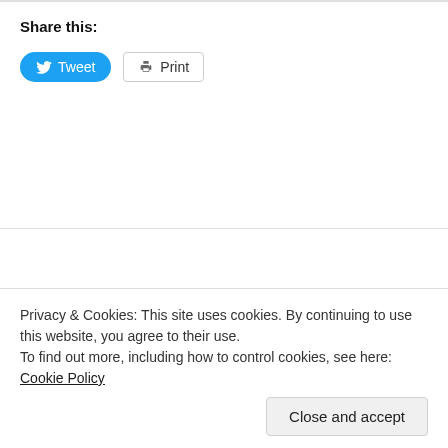Share this:
[Figure (screenshot): Tweet and Print share buttons]
I'm Just Sayin' – Dr. Scott
Privacy & Cookies: This site uses cookies. By continuing to use this website, you agree to their use.
To find out more, including how to control cookies, see here: Cookie Policy